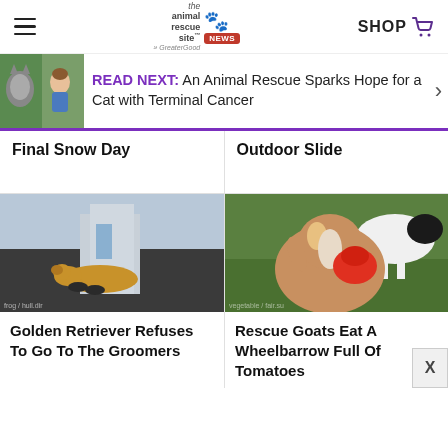the animal rescue site · SHOP
READ NEXT: An Animal Rescue Sparks Hope for a Cat with Terminal Cancer
Final Snow Day
Outdoor Slide
[Figure (photo): Golden Retriever dog lying on ground near building steps]
Golden Retriever Refuses To Go To The Groomers
[Figure (photo): Rescue goat with red tomato in mouth among other animals on grass]
Rescue Goats Eat A Wheelbarrow Full Of Tomatoes